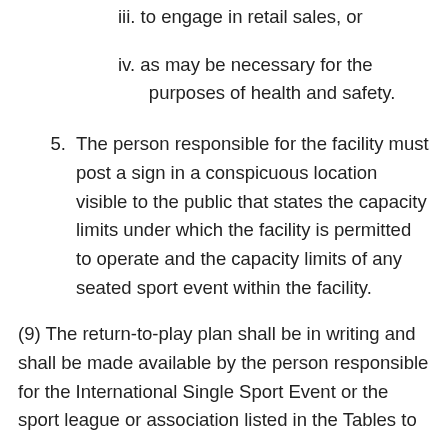iii. to engage in retail sales, or
iv. as may be necessary for the purposes of health and safety.
5. The person responsible for the facility must post a sign in a conspicuous location visible to the public that states the capacity limits under which the facility is permitted to operate and the capacity limits of any seated sport event within the facility.
(9) The return-to-play plan shall be in writing and shall be made available by the person responsible for the International Single Sport Event or the sport league or association listed in the Tables to